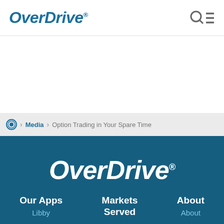OverDrive®
Media > Option Trading in Your Spare Time
[Figure (logo): OverDrive logo in white on dark blue footer background]
Our Apps
Markets Served
About
Libby
About